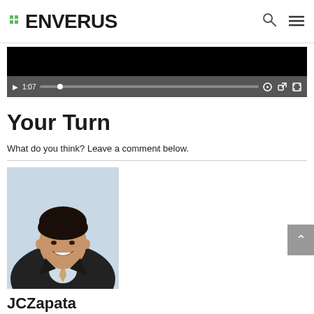ENVERUS
[Figure (screenshot): Video player with black screen, playback controls bar showing play button, timestamp 1:07, progress bar with dot, and settings/share/fullscreen icons]
Your Turn
What do you think? Leave a comment below.
[Figure (photo): Profile photo of JCZapata, a young man in a dark suit with a striped tie, smiling, against a light blue background]
JCZapata